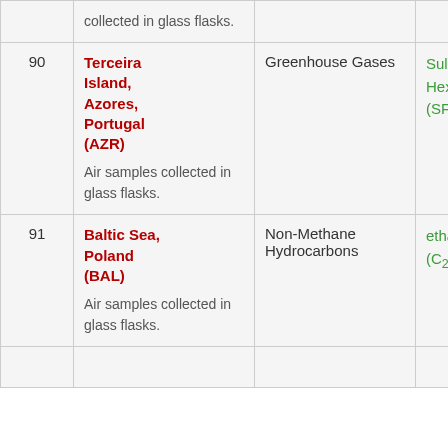| # | Location | Category | Gas |  |
| --- | --- | --- | --- | --- |
|  | collected in glass flasks. |  |  |  |
| 90 | Terceira Island, Azores, Portugal (AZR)
Air samples collected in glass flasks. | Greenhouse Gases | Sulfur Hexafluoride (SF6) |  |
| 91 | Baltic Sea, Poland (BAL)
Air samples collected in glass flasks. | Non-Methane Hydrocarbons | ethane (C2H6) |  |